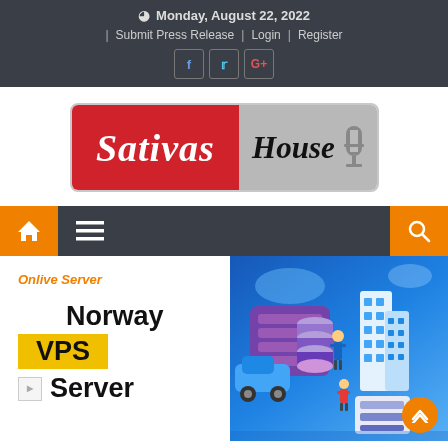Monday, August 22, 2022 | Submit Press Release | Login | Register
[Figure (logo): Sativas House logo — red background with italic white 'Sativas' text on left, gray background with black italic 'House' text and microphone icon on right]
[Figure (infographic): Navigation bar with orange home icon button, dark hamburger menu, and orange search icon button]
[Figure (illustration): Norway VPS Server advertisement with 'Onlive Server' label, large text 'Norway VPS Server' with yellow highlighted 'VPS', and a blue-themed server/cloud illustration on the right]